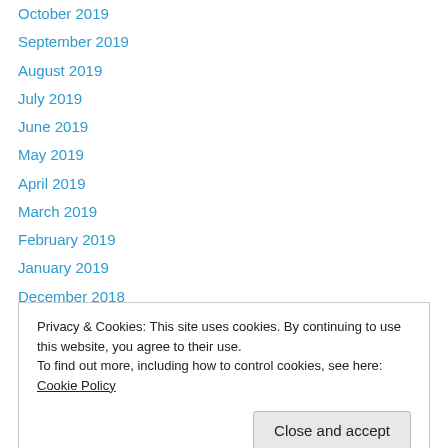October 2019
September 2019
August 2019
July 2019
June 2019
May 2019
April 2019
March 2019
February 2019
January 2019
December 2018
November 2018
October 2018
Privacy & Cookies: This site uses cookies. By continuing to use this website, you agree to their use.
To find out more, including how to control cookies, see here: Cookie Policy
Close and accept
March 2018